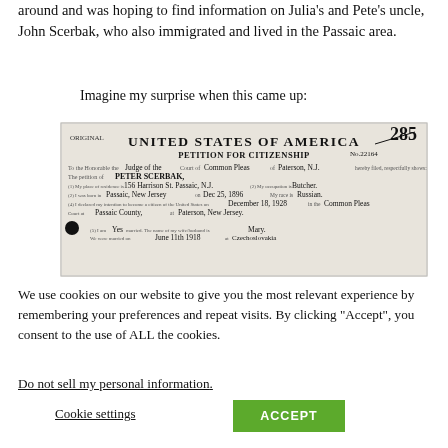around and was hoping to find information on Julia's and Pete's uncle, John Scerbak, who also immigrated and lived in the Passaic area.
Imagine my surprise when this came up:
[Figure (photo): Scanned document: United States of America Petition for Citizenship. No. 22164. No. 285. Judge of the Court of Common Pleas of Paterson, N.J. The petition of PETER SCERBAK. Place of residence: 156 Harrison St. Passaic, N.J. Occupation: Butcher. Born in Passaic, New Jersey on Dec 25, 1896. Race: Russian. Declared intention to become a citizen December 18, 1928 in the Common Pleas Court at Passaic County, Paterson, New Jersey. Married: Yes. Wife's name: Mary. Married June 11th 1918.]
We use cookies on our website to give you the most relevant experience by remembering your preferences and repeat visits. By clicking "Accept", you consent to the use of ALL the cookies.
Do not sell my personal information.
Cookie settings
ACCEPT